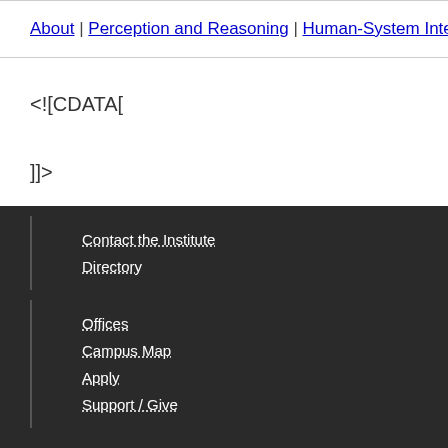About | Perception and Reasoning | Human-System Inte…
<![CDATA[

]]>
Contact the Institute
Directory
Offices
Campus Map
Apply
Support / Give